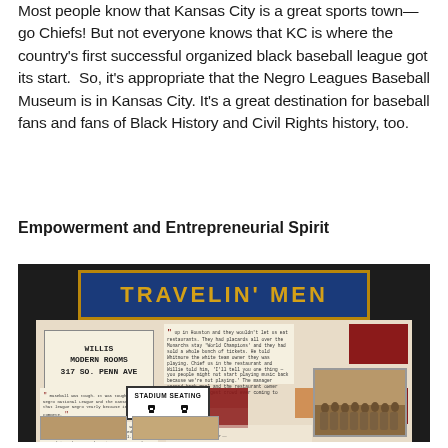Most people know that Kansas City is a great sports town—go Chiefs! But not everyone knows that KC is where the country's first successful organized black baseball league got its start.  So, it's appropriate that the Negro Leagues Baseball Museum is in Kansas City. It's a great destination for baseball fans and fans of Black History and Civil Rights history, too.
Empowerment and Entrepreneurial Spirit
[Figure (photo): Photograph of a museum exhibit display titled 'TRAVELIN' MEN' showing various historical panels, signs including 'WILLIS MODERN ROOMS 317 SO. PENN AVE', 'STADIUM SEATING' sign with arrows, text panels with quotes, red info panels, and an old group photograph of baseball players, all mounted on a display board.]